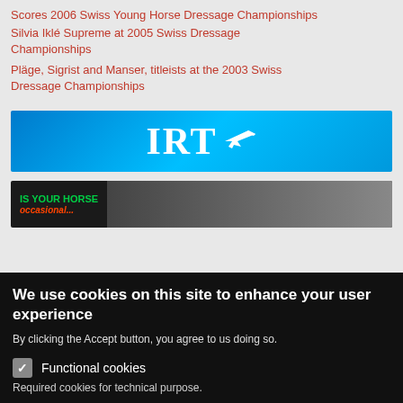Scores 2006 Swiss Young Horse Dressage Championships
Silvia Iklé Supreme at 2005 Swiss Dressage Championships
Pläge, Sigrist and Manser, titleists at the 2003 Swiss Dressage Championships
[Figure (logo): IRT logo banner with airplane icon on blue gradient background]
[Figure (photo): Partial horse advertisement banner with text IS YOUR HORSE and Privacy settings popup overlay]
We use cookies on this site to enhance your user experience
By clicking the Accept button, you agree to us doing so.
Functional cookies
Required cookies for technical purpose.